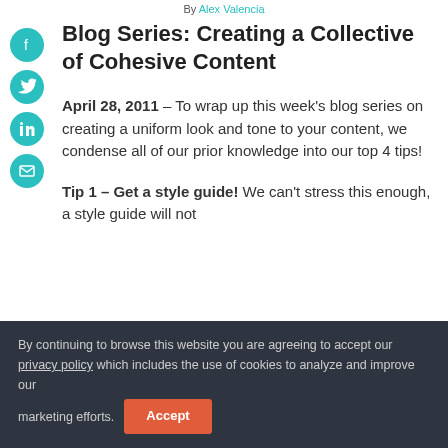By Alex Valencia
Blog Series: Creating a Collective of Cohesive Content
April 28, 2011 – To wrap up this week's blog series on creating a uniform look and tone to your content, we condense all of our prior knowledge into our top 4 tips!
Tip 1 – Get a style guide! We can't stress this enough, a style guide will not
By continuing to browse this website you are agreeing to accept our privacy policy which includes the use of cookies to analyze and improve our marketing efforts. Accept